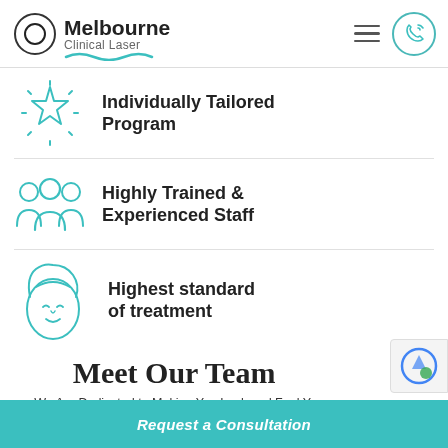[Figure (logo): Melbourne Clinical Laser logo with circle and teal wave]
Individually Tailored Program
Highly Trained & Experienced Staff
Highest standard of treatment
Meet Our Team
We Are Dedicated to Making You Look and Feel You Best
Request a Consultation